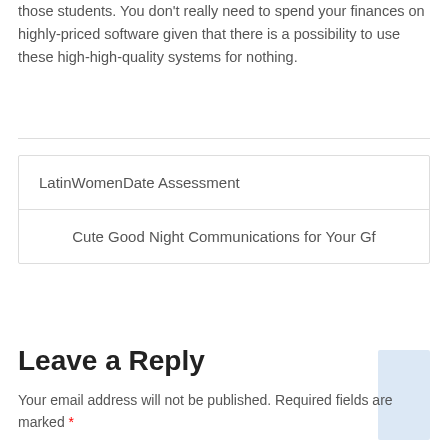those students. You don't really need to spend your finances on highly-priced software given that there is a possibility to use these high-high-quality systems for nothing.
LatinWomenDate Assessment
Cute Good Night Communications for Your Gf
Leave a Reply
Your email address will not be published. Required fields are marked *
Comment